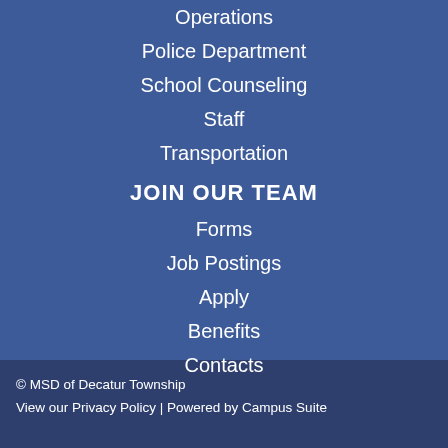Operations
Police Department
School Counseling
Staff
Transportation
JOIN OUR TEAM
Forms
Job Postings
Apply
Benefits
Contacts
© MSD of Decatur Township
View our Privacy Policy | Powered by Campus Suite
[Figure (other): Google Translate widget button with 'Select Language' text and dropdown arrow]